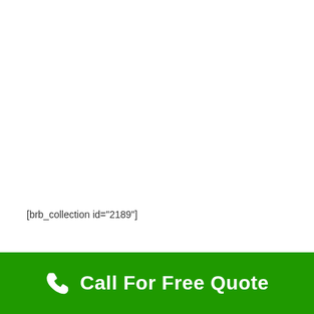[brb_collection id="2189"]
Call For Free Quote